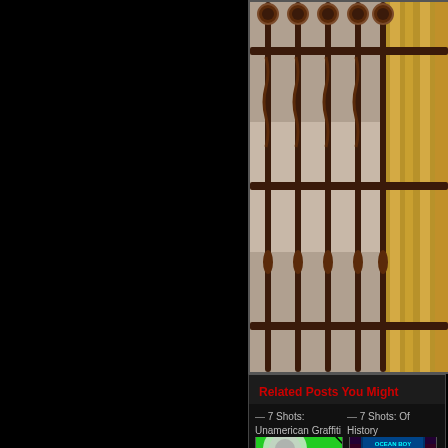[Figure (photo): Close-up photo of ornate iron gate bars with decorative elements, behind which is a golden/ornate temple or building structure]
Related Posts You Might Enjoy:
[Figure (photo): Close-up of a bright green vintage car with chrome headlight detail]
[Figure (photo): Interior of a bar or nightclub with neon sign reading 'Ocean Boy' in both Thai and English, with purple and blue lighting]
— 7 Shots: Unamerican Graffiti
— 7 Shots: Of History